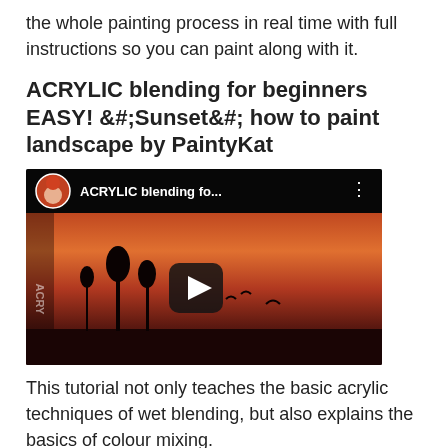the whole painting process in real time with full instructions so you can paint along with it.
ACRYLIC blending for beginners EASY! &#;Sunset&#; how to paint landscape by PaintyKat
[Figure (screenshot): YouTube video thumbnail showing 'ACRYLIC blending fo...' with a sunset landscape painting, play button, and PaintyKat avatar]
This tutorial not only teaches the basic acrylic techniques of wet blending, but also explains the basics of colour mixing.
Beaches and oceans